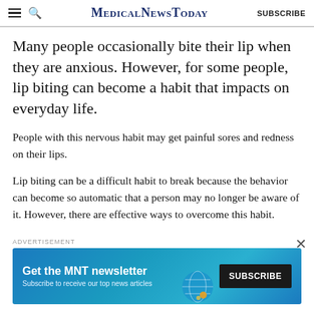MedicalNewsToday SUBSCRIBE
Many people occasionally bite their lip when they are anxious. However, for some people, lip biting can become a habit that impacts on everyday life.
People with this nervous habit may get painful sores and redness on their lips.
Lip biting can be a difficult habit to break because the behavior can become so automatic that a person may no longer be aware of it. However, there are effective ways to overcome this habit.
ADVERTISEMENT
[Figure (other): Advertisement banner for MNT newsletter with subscribe button. Text: Get the MNT newsletter. Subscribe to receive our top news articles. SUBSCRIBE button.]